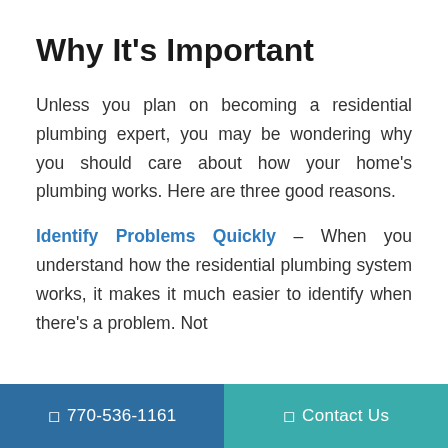Why It's Important
Unless you plan on becoming a residential plumbing expert, you may be wondering why you should care about how your home's plumbing works. Here are three good reasons.
Identify Problems Quickly – When you understand how the residential plumbing system works, it makes it much easier to identify when there's a problem. Not
770-536-1161   Contact Us